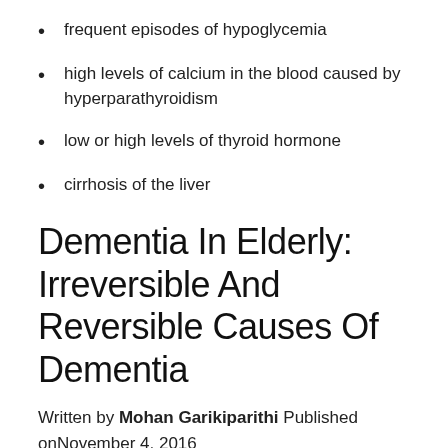frequent episodes of hypoglycemia
high levels of calcium in the blood caused by hyperparathyroidism
low or high levels of thyroid hormone
cirrhosis of the liver
Dementia In Elderly: Irreversible And Reversible Causes Of Dementia
Written by Mohan Garikiparithi Published onNovember 4, 2016
Dementia is an umbrella term for memory loss, but there are